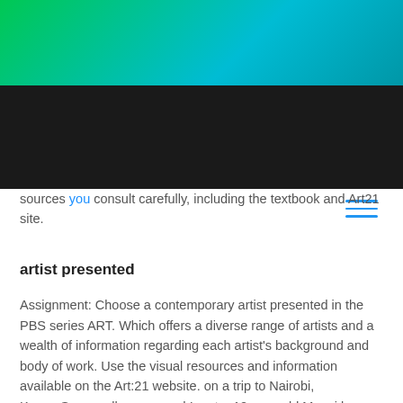[Figure (other): Green to teal gradient header banner at the top of the page]
Navigation bar with hamburger menu icon (three horizontal blue lines) on dark background
sources you consult carefully, including the textbook and Art21 site.
artist presented
Assignment: Choose a contemporary artist presented in the PBS series ART. Which offers a diverse range of artists and a wealth of information regarding each artist's background and body of work. Use the visual resources and information available on the Art:21 website. on a trip to Nairobi, Kenya.Some colleagues and I met a 12-year-old Masai boy named Richard Turere. who told us a fascinating story. His family raises livestock on the edge of a vast national park, and one of the biggest challenges is protecting the animals from lions—especially at night.
Richard had noticed that placing lamps in a field didn't